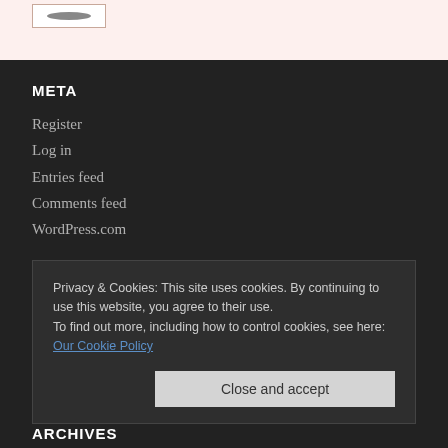[Figure (other): Small image thumbnail in a bordered box at the top left of the page]
META
Register
Log in
Entries feed
Comments feed
WordPress.com
Privacy & Cookies: This site uses cookies. By continuing to use this website, you agree to their use.
To find out more, including how to control cookies, see here: Our Cookie Policy
Close and accept
ARCHIVES